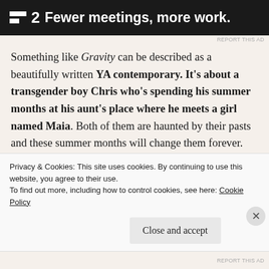[Figure (other): Advertisement banner: dark background with F2 logo (two white bars/stripes icon) and text 'Fewer meetings, more work.']
Something like Gravity can be described as a beautifully written YA contemporary. It's about a transgender boy Chris who's spending his summer months at his aunt's place where he meets a girl named Maia. Both of them are haunted by their pasts and these summer months will change them forever. Chris' backstory is one I found to be too traumatic and there's no real closure to be
Privacy & Cookies: This site uses cookies. By continuing to use this website, you agree to their use.
To find out more, including how to control cookies, see here: Cookie Policy
Close and accept